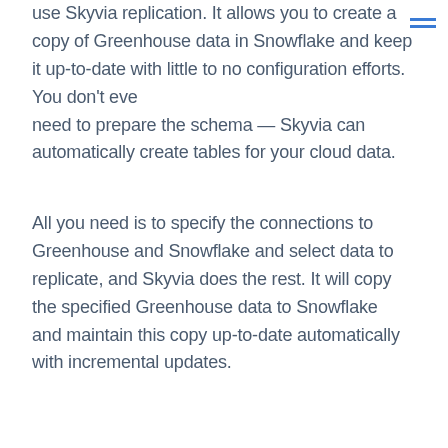use Skyvia replication. It allows you to create a copy of Greenhouse data in Snowflake and keep it up-to-date with little to no configuration efforts. You don't even need to prepare the schema — Skyvia can automatically create tables for your cloud data.
All you need is to specify the connections to Greenhouse and Snowflake and select data to replicate, and Skyvia does the rest. It will copy the specified Greenhouse data to Snowflake and maintain this copy up-to-date automatically with incremental updates.